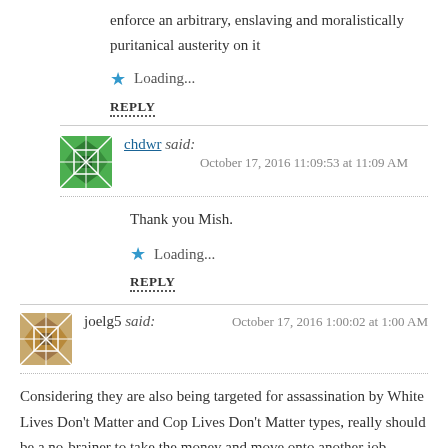enforce an arbitrary, enslaving and moralistically puritanical austerity on it
★ Loading...
REPLY
chdwr said:
October 17, 2016 11:09:53 at 11:09 AM
Thank you Mish.
★ Loading...
REPLY
joelg5 said:
October 17, 2016 1:00:02 at 1:00 AM
Considering they are also being targeted for assassination by White Lives Don't Matter and Cop Lives Don't Matter types, really should be a no-brainer to take the money and move onto another job. Worrying